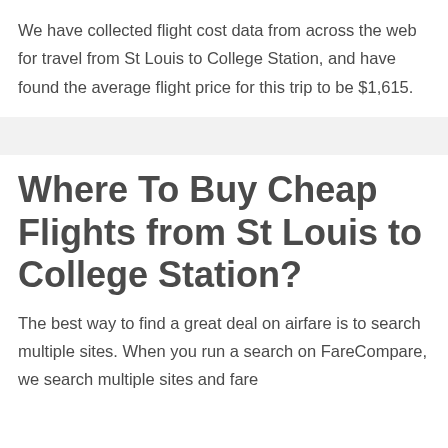We have collected flight cost data from across the web for travel from St Louis to College Station, and have found the average flight price for this trip to be $1,615.
Where To Buy Cheap Flights from St Louis to College Station?
The best way to find a great deal on airfare is to search multiple sites. When you run a search on FareCompare, we search multiple sites and fare